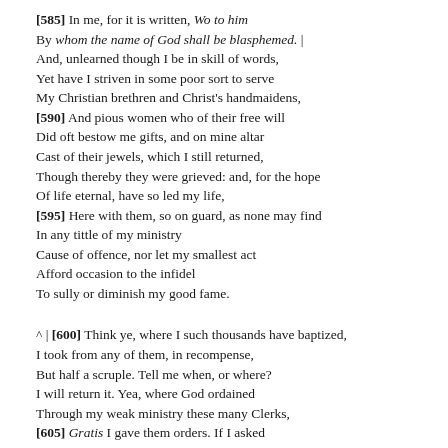[585] In me, for it is written, Wo to him
By whom the name of God shall be blasphemed. |
And, unlearned though I be in skill of words,
Yet have I striven in some poor sort to serve
My Christian brethren and Christ's handmaidens,
[590] And pious women who of their free will
Did oft bestow me gifts, and on mine altar
Cast of their jewels, which I still returned,
Though thereby they were grieved: and, for the hope
Of life eternal, have so led my life,
[595] Here with them, so on guard, as none may find
In any tittle of my ministry
Cause of offence, nor let my smallest act
Afford occasion to the infidel
To sully or diminish my good fame.

^ | [600] Think ye, where I such thousands have baptized,
I took from any of them, in recompense,
But half a scruple. Tell me when, or where?
I will return it. Yea, where God ordained
Through my weak ministry these many Clerks,
[605] Gratis I gave them orders. If I asked
Of any to the value but of my shoe,
Tell me : I will repay it you and more. |
'Twas rather I who spent my worldly wealth